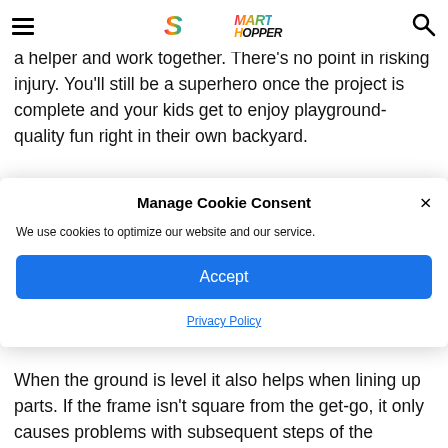Smart Hopper
a helper and work together. There's no point in risking injury. You'll still be a superhero once the project is complete and your kids get to enjoy playground-quality fun right in their own backyard.
Manage Cookie Consent
We use cookies to optimize our website and our service.
Accept
Privacy Policy
When the ground is level it also helps when lining up parts. If the frame isn't square from the get-go, it only causes problems with subsequent steps of the installation.